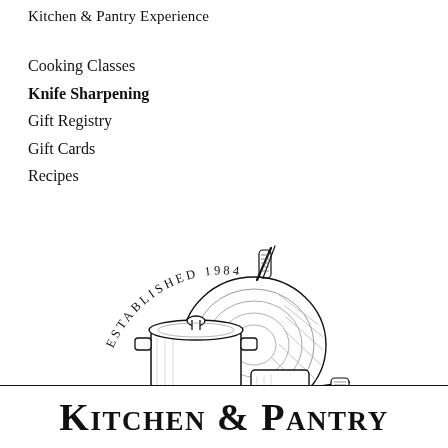Kitchen & Pantry Experience
Cooking Classes
Knife Sharpening
Gift Registry
Gift Cards
Recipes
[Figure (illustration): Line drawing of cookware (stockpot with lid, saucepan, large skillet/wok) arranged together, with arched text 'ESTABLISHED 1984' above]
Kitchen & Pantry